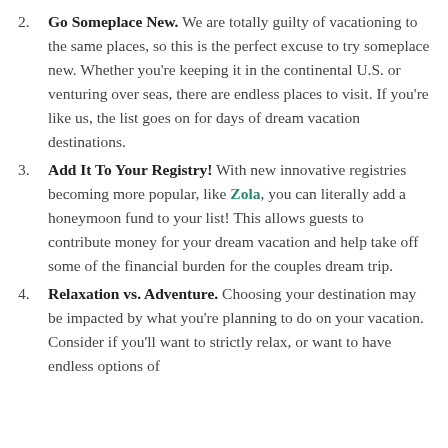2. Go Someplace New. We are totally guilty of vacationing to the same places, so this is the perfect excuse to try someplace new.  Whether you're keeping it in the continental U.S. or venturing over seas, there are endless places to visit.  If you're like us, the list goes on for days of dream vacation destinations.
3. Add It To Your Registry! With new innovative registries becoming more popular, like Zola, you can literally add a honeymoon fund to your list! This allows guests to contribute money for your dream vacation and help take off some of the financial burden for the couples dream trip.
4. Relaxation vs. Adventure. Choosing your destination may be impacted by what you're planning to do on your vacation.  Consider if you'll want to strictly relax, or want to have endless options of